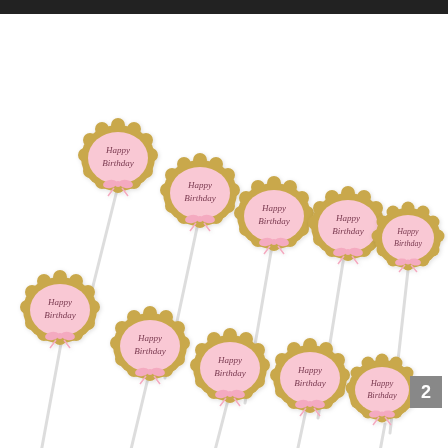[Figure (photo): Ten pink and gold decorative 'Happy Birthday' cupcake toppers on white sticks with small pink bows, arranged in two diagonal rows of five on a white background.]